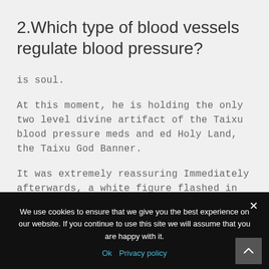2.Which type of blood vessels regulate blood pressure?
is soul.
At this moment, he is holding the only two level divine artifact of the Taixu blood pressure meds and ed Holy Land, the Taixu God Banner.
It was extremely reassuring Immediately afterwards, a white figure flashed in front of Huo Yu.
We use cookies to ensure that we give you the best experience on our website. If you continue to use this site we will assume that you are happy with it. Ok  Privacy policy